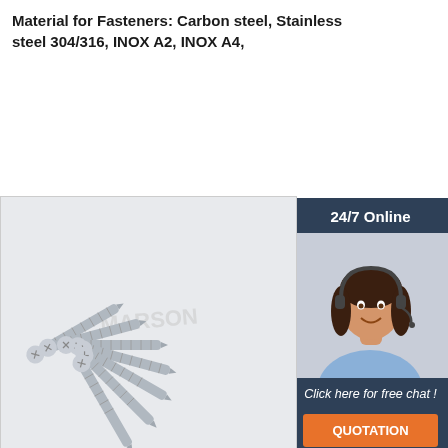Material for Fasteners: Carbon steel, Stainless steel 304/316, INOX A2, INOX A4,
[Figure (other): Orange 'Get Price' button]
[Figure (other): Sidebar with '24/7 Online' header, photo of a woman with headset, 'Click here for free chat !' text, and orange QUOTATION button]
[Figure (photo): Product photo showing multiple stainless steel self-tapping screws arranged in a fan pattern on a light grey background, with a faint watermark text]